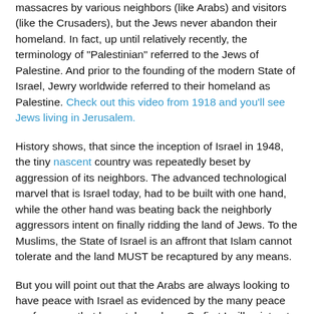massacres by various neighbors (like Arabs) and visitors (like the Crusaders), but the Jews never abandon their homeland. In fact, up until relatively recently, the terminology of "Palestinian" referred to the Jews of Palestine. And prior to the founding of the modern State of Israel, Jewry worldwide referred to their homeland as Palestine. Check out this video from 1918 and you'll see Jews living in Jerusalem.
History shows, that since the inception of Israel in 1948, the tiny nascent country was repeatedly beset by aggression of its neighbors. The advanced technological marvel that is Israel today, had to be built with one hand, while the other hand was beating back the neighborly aggressors intent on finally ridding the land of Jews. To the Muslims, the State of Israel is an affront that Islam cannot tolerate and the land MUST be recaptured by any means.
But you will point out that the Arabs are always looking to have peace with Israel as evidenced by the many peace conferences that have taken place. So first I will point out to you that even today, the so-called Palestinian people call the Israeli Independence Day, the day of Nakba (catastrophe).